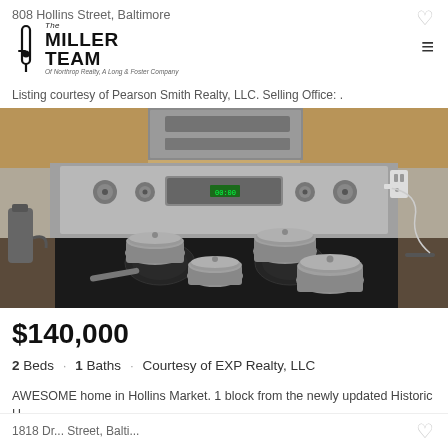808 Hollins Street, Baltimore
[Figure (logo): The Miller Team logo - Of Northrop Realty, A Long & Foster Company]
Listing courtesy of Pearson Smith Realty, LLC. Selling Office: .
[Figure (photo): Kitchen photo showing a stainless steel stove/range with overhead microwave/vent hood, black glass cooktop with multiple stainless steel pots and pans on burners, granite countertops, wooden cabinets in background]
$140,000
2 Beds · 1 Baths · Courtesy of EXP Realty, LLC
AWESOME home in Hollins Market. 1 block from the newly updated Historic H...
1818 Druid... Street, Balti...